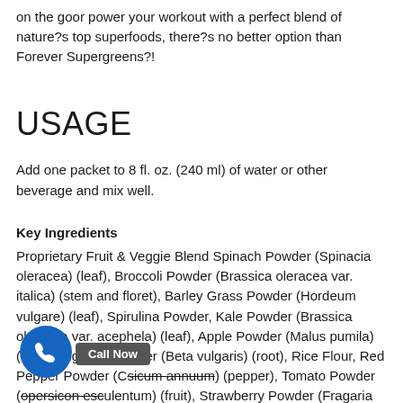on the goor power your workout with a perfect blend of nature?s top superfoods, there?s no better option than Forever Supergreens?!
USAGE
Add one packet to 8 fl. oz. (240 ml) of water or other beverage and mix well.
Key Ingredients
Proprietary Fruit & Veggie Blend Spinach Powder (Spinacia oleracea) (leaf), Broccoli Powder (Brassica oleracea var. italica) (stem and floret), Barley Grass Powder (Hordeum vulgare) (leaf), Spirulina Powder, Kale Powder (Brassica oleracea var. acephela) (leaf), Apple Powder (Malus pumila) (fruit), Sugar Beet Fiber (Beta vulgaris) (root), Rice Flour, Red Pepper Powder (Capsicum annuum) (pepper), Tomato Powder (Lycopersicon esculentum) (fruit), Strawberry Powder (Fragaria virginiana) (fruit), Cranberry Powder